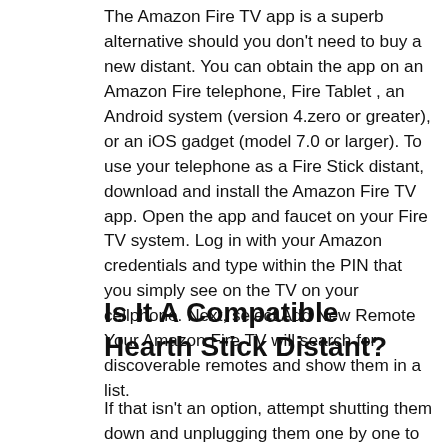The Amazon Fire TV app is a superb alternative should you don't need to buy a new distant. You can obtain the app on an Amazon Fire telephone, Fire Tablet , an Android system (version 4.zero or greater), or an iOS gadget (model 7.0 or larger). To use your telephone as a Fire Stick distant, download and install the Amazon Fire TV app. Open the app and faucet on your Fire TV system. Log in with your Amazon credentials and type within the PIN that you simply see on the TV on your cellphone. Next, select Add New Remote Your Amazon Fire TV will search for discoverable remotes and show them in a list.
Is It A Compatible Hearth Stick Distant?
If that isn't an option, attempt shutting them down and unplugging them one by one to see if the issue clears. Fire Stick remotes let you use...